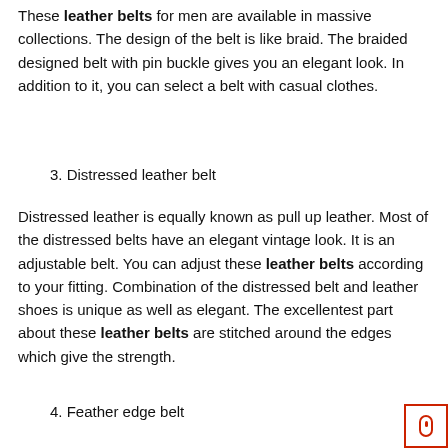These leather belts for men are available in massive collections. The design of the belt is like braid. The braided designed belt with pin buckle gives you an elegant look. In addition to it, you can select a belt with casual clothes.
3. Distressed leather belt
Distressed leather is equally known as pull up leather. Most of the distressed belts have an elegant vintage look. It is an adjustable belt. You can adjust these leather belts according to your fitting. Combination of the distressed belt and leather shoes is unique as well as elegant. The excellentest part about these leather belts are stitched around the edges which give the strength.
4. Feather edge belt